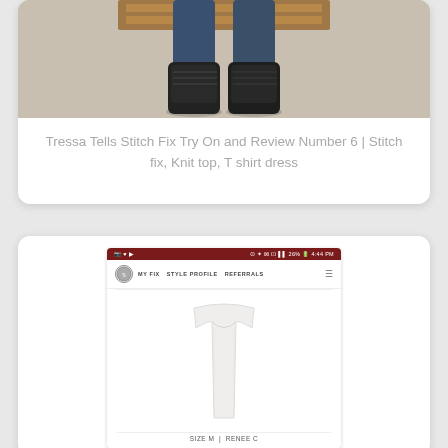[Figure (photo): Cropped photo showing lower body with dark jeans and black lace-up combat boots, sitting against a wooden headboard with beige carpet]
Tressa Tells Stitch Fix Try On and Review Number 6 | Stitch fix, Knit top, T shirt dress
[Figure (screenshot): Mobile app screenshot showing Stitch Fix app with dark red status bar showing 26% battery and 4:44 PM, navigation bar with MY FIX STYLE PROFILE REFERRALS, and a white sleeveless top product image with SIZE M | RENEE C label]